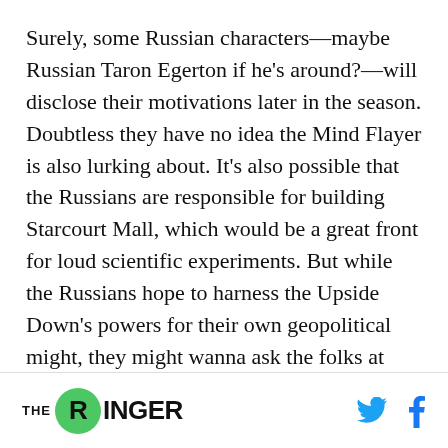Surely, some Russian characters—maybe Russian Taron Egerton if he's around?—will disclose their motivations later in the season. Doubtless they have no idea the Mind Flayer is also lurking about. It's also possible that the Russians are responsible for building Starcourt Mall, which would be a great front for loud scientific experiments. But while the Russians hope to harness the Upside Down's powers for their own geopolitical might, they might wanna ask the folks at Hawkins Lab how well that went for them—assuming any of them are still alive.
THE RINGER